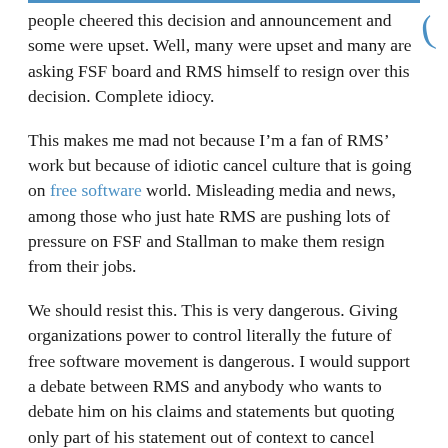people cheered this decision and announcement and some were upset. Well, many were upset and many are asking FSF board and RMS himself to resign over this decision. Complete idiocy.
This makes me mad not because I’m a fan of RMS’ work but because of idiotic cancel culture that is going on free software world. Misleading media and news, among those who just hate RMS are pushing lots of pressure on FSF and Stallman to make them resign from their jobs.
We should resist this. This is very dangerous. Giving organizations power to control literally the future of free software movement is dangerous. I would support a debate between RMS and anybody who wants to debate him on his claims and statements but quoting only part of his statement out of context to cancel someone is dangerous to all of us.